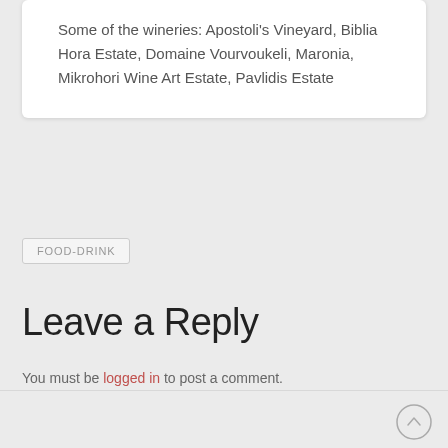Some of the wineries: Apostoli's Vineyard, Biblia Hora Estate, Domaine Vourvoukeli, Maronia, Mikrohori Wine Art Estate, Pavlidis Estate
FOOD-DRINK
Leave a Reply
You must be logged in to post a comment.